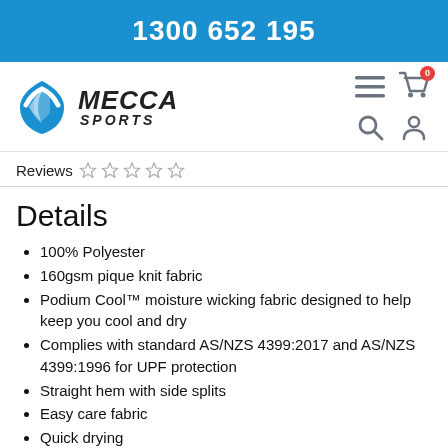1300 652 195
[Figure (logo): Mecca Sports logo with blue shield icon and italic bold text MECCA SPORTS]
Reviews ☆ ☆ ☆ ☆ ☆
Details
100% Polyester
160gsm pique knit fabric
Podium Cool™ moisture wicking fabric designed to help keep you cool and dry
Complies with standard AS/NZS 4399:2017 and AS/NZS 4399:1996 for UPF protection
Straight hem with side splits
Easy care fabric
Quick drying
Classic Fit